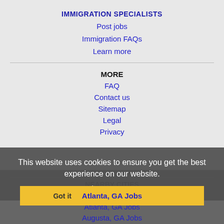IMMIGRATION SPECIALISTS
Post jobs
Immigration FAQs
Learn more
MORE
FAQ
Contact us
Sitemap
Legal
Privacy
This website uses cookies to ensure you get the best experience on our website.
Learn more
NEARBY CITIES
Got it
Atlanta, GA Jobs
Atlanta, GA Jobs
Augusta, GA Jobs